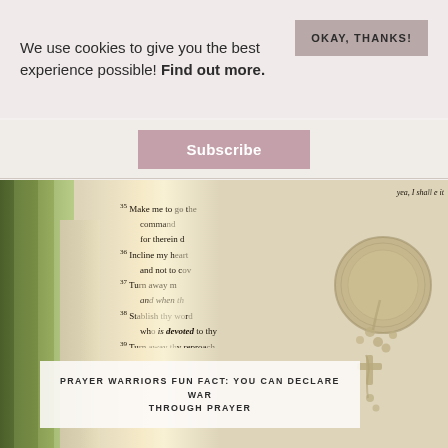We use cookies to give you the best experience possible! Find out more.
OKAY, THANKS!
Subscribe
[Figure (photo): Photo of an open Bible with Psalm 119 verses visible (verses 35-41), with a green ribbon bookmark on the left and a silver jewelry/rosary piece overlaying the right side of the page. Warm light illuminates the center.]
PRAYER WARRIORS FUN FACT: YOU CAN DECLARE WAR THROUGH PRAYER